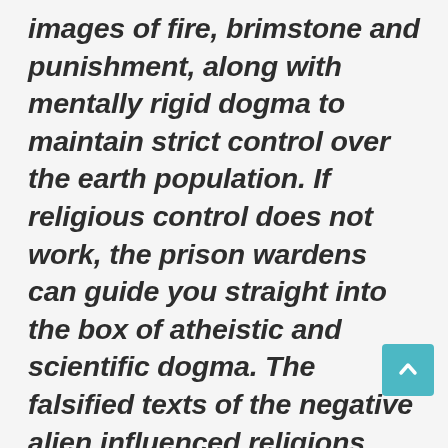images of fire, brimstone and punishment, along with mentally rigid dogma to maintain strict control over the earth population. If religious control does not work, the prison wardens can guide you straight into the box of atheistic and scientific dogma. The falsified texts of the negative alien influenced religions have programmed many people to be judgmental and condemning of their brothers and sisters, engaging in circular debates over what religion or Bible is the best